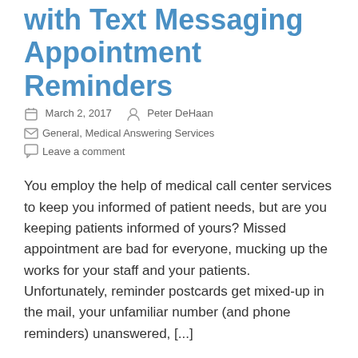with Text Messaging Appointment Reminders
March 2, 2017   Peter DeHaan
General, Medical Answering Services
Leave a comment
You employ the help of medical call center services to keep you informed of patient needs, but are you keeping patients informed of yours? Missed appointment are bad for everyone, mucking up the works for your staff and your patients. Unfortunately, reminder postcards get mixed-up in the mail, your unfamiliar number (and phone reminders) unanswered, [...]
[Figure (infographic): Social sharing buttons: Facebook (blue), LinkedIn (teal), Twitter (light blue), Share/plus (blue)]